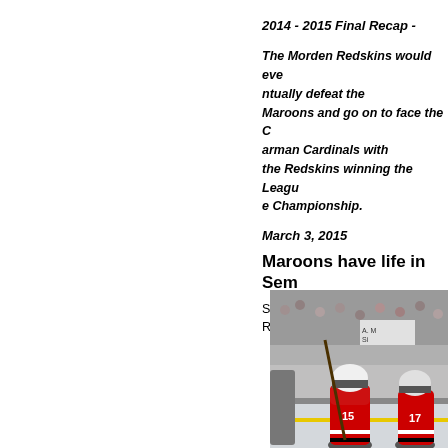2014 - 2015 Final Recap -
The Morden Redskins would eventually defeat the Maroons and go on to face the Carman Cardinals with the Redskins winning the League Championship.
March 3, 2015
Maroons have life in Sem...
Sat. Feb. 28 -Maroons 4 Redskins...
[Figure (photo): Hockey players in red jerseys on ice, number 15 and number 17 visible, with crowd in background]